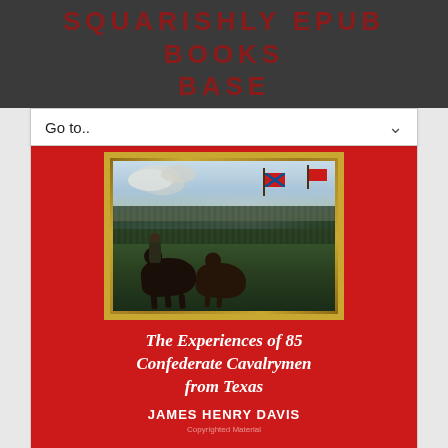SQUARISHLY EPUB BOOKS BASE
Go to..
[Figure (illustration): Book cover for 'The Experiences of 85 Confederate Cavalrymen from Texas' by James Henry Davis. Red background with a framed oil painting of a Civil War battle scene showing soldiers on horseback with Confederate flags. White italic title text and bold author name below the painting.]
The Experiences of 85 Confederate Cavalrymen from Texas
JAMES HENRY DAVIS
Copyrighted Material